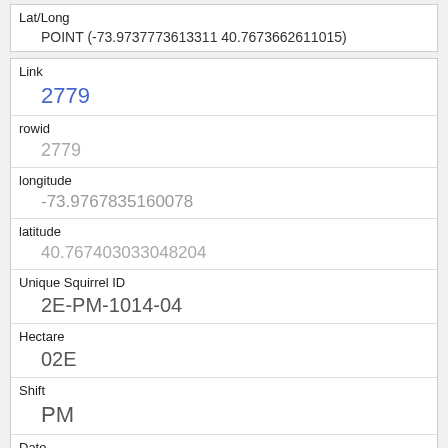| Field | Value |
| --- | --- |
| Lat/Long | POINT (-73.9737773613311 40.7673662611015) |
| Link | 2779 |
| rowid | 2779 |
| longitude | -73.9767835160078 |
| latitude | 40.767403033048204 |
| Unique Squirrel ID | 2E-PM-1014-04 |
| Hectare | 02E |
| Shift | PM |
| Date | 10142018 |
| Hectare Squirrel Number |  |